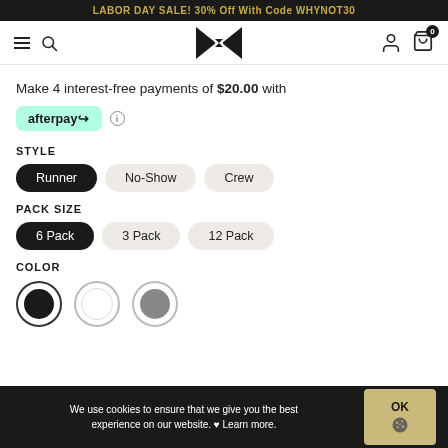LABOR DAY SALE! 30% Off With Code WHYNOT30
[Figure (screenshot): Navigation bar with hamburger menu, search icon, bowtie logo, user icon, and shopping cart with 0 badge]
Make 4 interest-free payments of $20.00 with
[Figure (logo): Afterpay badge logo in mint green with info icon]
STYLE
Runner (selected), No-Show, Crew
PACK SIZE
6 Pack (selected), 3 Pack, 12 Pack
COLOR
[Figure (other): Three color swatches: black (selected), white, grey]
We use cookies to ensure that we give you the best experience on our website. ♥ Learn more.